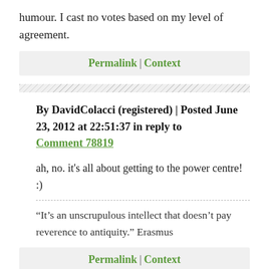humour. I cast no votes based on my level of agreement.
Permalink | Context
By DavidColacci (registered) | Posted June 23, 2012 at 22:51:37 in reply to Comment 78819
ah, no. it's all about getting to the power centre! :)
“It’s an unscrupulous intellect that doesn’t pay reverence to antiquity.” Erasmus
Permalink | Context